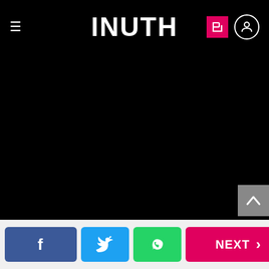INUTH
[Figure (photo): Dark/black hero image showing a person, heavily underexposed, used as background for an article about Karan Johar's look at Hello Hall of Fame 2018 awards]
Karan Johar's look for Hello Hall of Fame 2018 awards
Read More
18/21
NEXT >